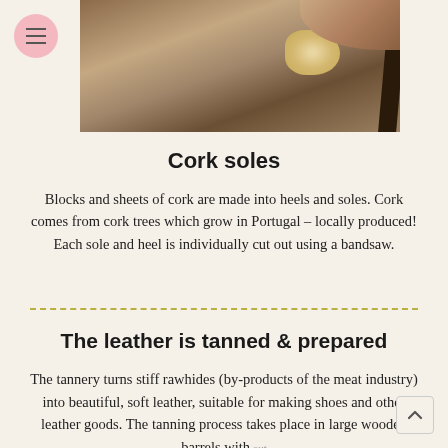[Figure (photo): Photo of a cork block being cut on a bandsaw, viewed from above showing the wood grain and a piece of cork]
Cork soles
Blocks and sheets of cork are made into heels and soles. Cork comes from cork trees which grow in Portugal – locally produced! Each sole and heel is individually cut out using a bandsaw.
The leather is tanned & prepared
The tannery turns stiff rawhides (by-products of the meat industry) into beautiful, soft leather, suitable for making shoes and other leather goods. The tanning process takes place in large wooden barrels with the use of any heavy metals, such as chromium. It therefore complies with REACH, the EU's legislative